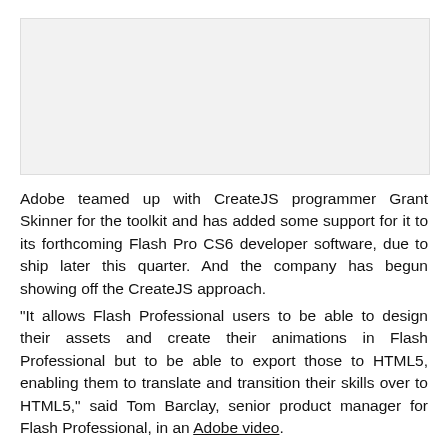[Figure (photo): Image placeholder area at top of page]
Adobe teamed up with CreateJS programmer Grant Skinner for the toolkit and has added some support for it to its forthcoming Flash Pro CS6 developer software, due to ship later this quarter. And the company has begun showing off the CreateJS approach.
"It allows Flash Professional users to be able to design their assets and create their animations in Flash Professional but to be able to export those to HTML5, enabling them to translate and transition their skills over to HTML5," said Tom Barclay, senior product manager for Flash Professional, in an Adobe video.